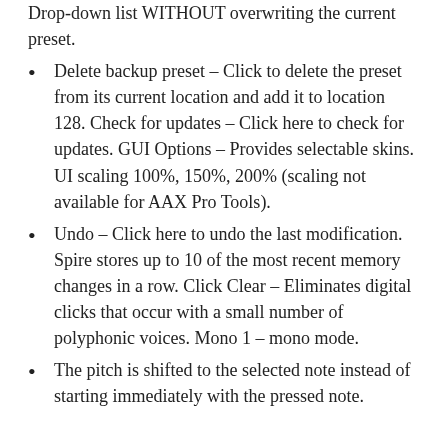Drop-down list WITHOUT overwriting the current preset.
Delete backup preset – Click to delete the preset from its current location and add it to location 128. Check for updates – Click here to check for updates. GUI Options – Provides selectable skins. UI scaling 100%, 150%, 200% (scaling not available for AAX Pro Tools).
Undo – Click here to undo the last modification. Spire stores up to 10 of the most recent memory changes in a row. Click Clear – Eliminates digital clicks that occur with a small number of polyphonic voices. Mono 1 – mono mode.
The pitch is shifted to the selected note instead of starting immediately with the pressed note.